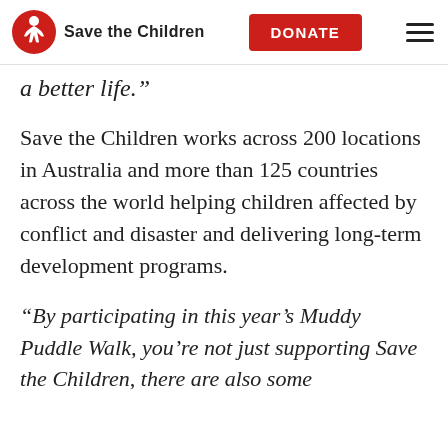Save the Children | DONATE
a better life.”
Save the Children works across 200 locations in Australia and more than 125 countries across the world helping children affected by conflict and disaster and delivering long-term development programs.
“By participating in this year’s Muddy Puddle Walk, you’re not just supporting Save the Children, there are also some